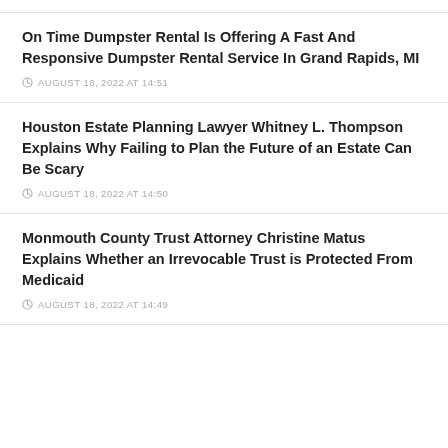On Time Dumpster Rental Is Offering A Fast And Responsive Dumpster Rental Service In Grand Rapids, MI
AUGUST 18, 2022 AT 14:51
Houston Estate Planning Lawyer Whitney L. Thompson Explains Why Failing to Plan the Future of an Estate Can Be Scary
AUGUST 18, 2022 AT 14:50
Monmouth County Trust Attorney Christine Matus Explains Whether an Irrevocable Trust is Protected From Medicaid
AUGUST 18, 2022 AT 14:49